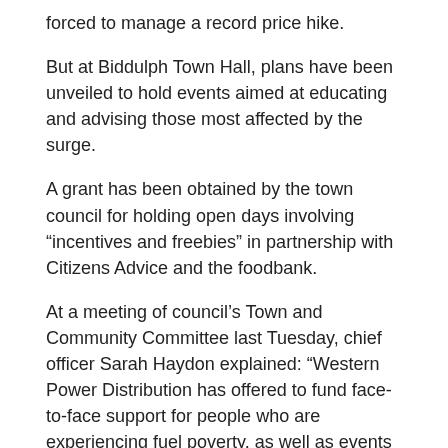forced to manage a record price hike.
But at Biddulph Town Hall, plans have been unveiled to hold events aimed at educating and advising those most affected by the surge.
A grant has been obtained by the town council for holding open days involving “incentives and freebies” in partnership with Citizens Advice and the foodbank.
At a meeting of council’s Town and Community Committee last Tuesday, chief officer Sarah Haydon explained: “Western Power Distribution has offered to fund face-to-face support for people who are experiencing fuel poverty, as well as events to help deal with it.